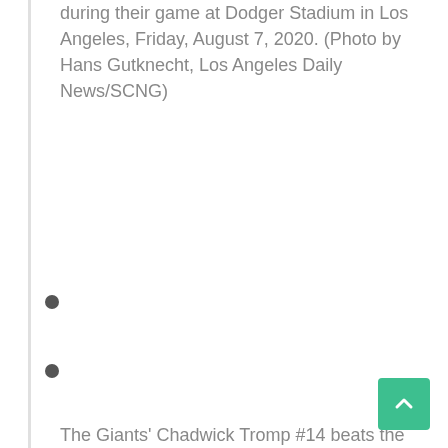during their game at Dodger Stadium in Los Angeles, Friday, August 7, 2020. (Photo by Hans Gutknecht, Los Angeles Daily News/SCNG)
The Giants' Chadwick Tromp #14 beats the